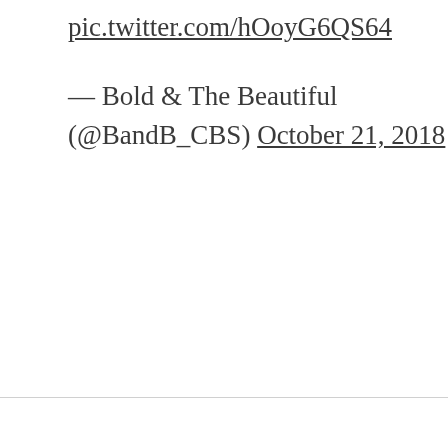pic.twitter.com/hOoyG6QS64
— Bold & The Beautiful (@BandB_CBS) October 21, 2018